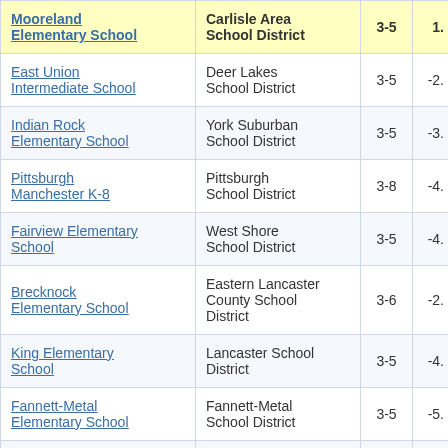| School | District | Grades | Score |
| --- | --- | --- | --- |
| Mooreland Elementary School | Carlisle Area School District | 3-5 | 1. |
| East Union Intermediate School | Deer Lakes School District | 3-5 | -2. |
| Indian Rock Elementary School | York Suburban School District | 3-5 | -3. |
| Pittsburgh Manchester K-8 | Pittsburgh School District | 3-8 | -4. |
| Fairview Elementary School | West Shore School District | 3-5 | -4. |
| Brecknock Elementary School | Eastern Lancaster County School District | 3-6 | -2. |
| King Elementary School | Lancaster School District | 3-5 | -4. |
| Fannett-Metal Elementary School | Fannett-Metal School District | 3-5 | -5. |
| East York Elementary... | York School... |  |  |